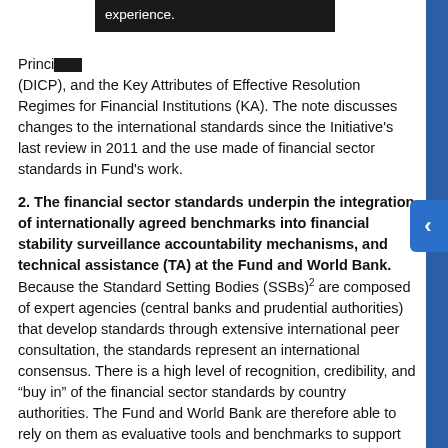experience.
Principles (DICP), and the Key Attributes of Effective Resolution Regimes for Financial Institutions (KA). The note discusses changes to the international standards since the Initiative's last review in 2011 and the use made of financial sector standards in Fund's work.
2. The financial sector standards underpin the integration of internationally agreed benchmarks into financial stability surveillance accountability mechanisms, and technical assistance (TA) at the Fund and World Bank.
Because the Standard Setting Bodies (SSBs)2 are composed of expert agencies (central banks and prudential authorities) that develop standards through extensive international peer consultation, the standards represent an international consensus. There is a high level of recognition, credibility, and “buy in” of the financial sector standards by country authorities. The Fund and World Bank are therefore able to rely on them as evaluative tools and benchmarks to support financial sector policy recommendations. In turn, the Fund (along with the World Bank) acts as impartial arbiters in evaluating